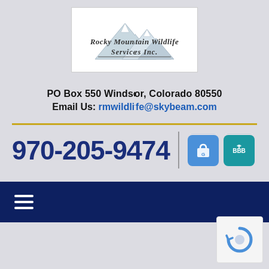[Figure (logo): Rocky Mountain Wildlife Services Inc. logo with mountain silhouettes]
PO Box 550 Windsor, Colorado 80550
Email Us: rmwildlife@skybeam.com
970-205-9474
[Figure (logo): Google My Business icon and BBB icon]
[Figure (screenshot): Navigation hamburger menu on dark navy bar]
[Figure (other): reCAPTCHA logo widget in bottom right corner]